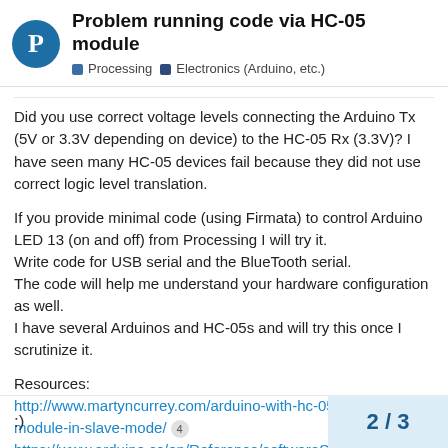Problem running code via HC-05 module | Processing | Electronics (Arduino, etc.)
Did you use correct voltage levels connecting the Arduino Tx (5V or 3.3V depending on device) to the HC-05 Rx (3.3V)? I have seen many HC-05 devices fail because they did not use correct logic level translation.
If you provide minimal code (using Firmata) to control Arduino LED 13 (on and off) from Processing I will try it.
Write code for USB serial and the BlueTooth serial.
The code will help me understand your hardware configuration as well.
I have several Arduinos and HC-05s and will try this once I scrutinize it.
Resources:
http://www.martyncurrey.com/arduino-with-hc-05-bluetooth-module-in-slave-mode/ [4]
https://www.arduino.cc/en/Reference/softwareSerial [2]
:)
2 / 3